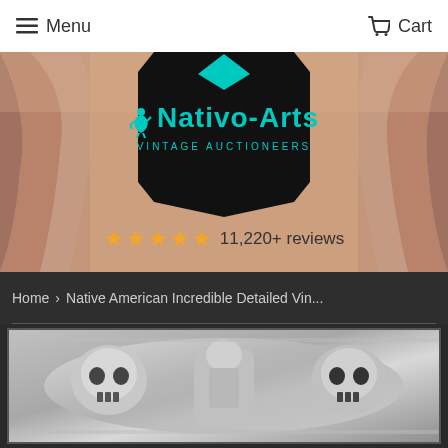Menu | Cart
[Figure (photo): Nativo-Arts Vintage Auctioneers logo on black badge background with canyon photo. Five gold stars and '11,220+ reviews' text shown below logo.]
Home › Native American Incredible Detailed Vin...
[Figure (photo): Close-up photo of a detailed vintage silver skull buckle or ring with intricate metalwork on a grey background.]